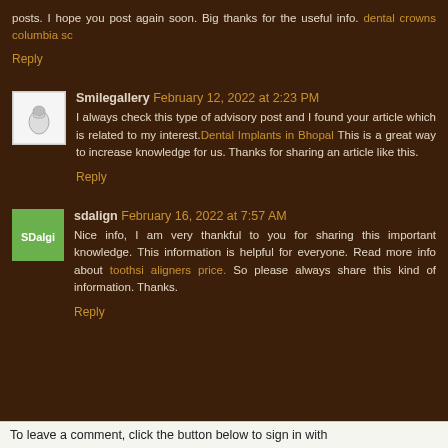posts. I hope you post again soon. Big thanks for the useful info. dental crowns columbia sc
Reply
Smilegallery February 12, 2022 at 2:23 PM
I always check this type of advisory post and I found your article which is related to my interest.Dental Implants in Bhopal This is a great way to increase knowledge for us. Thanks for sharing an article like this.
Reply
sdalign February 16, 2022 at 7:57 AM
Nice info, I am very thankful to you for sharing this important knowledge. This information is helpful for everyone. Read more info about toothsi aligners price. So please always share this kind of information. Thanks.
Reply
To leave a comment, click the button below to sign in with